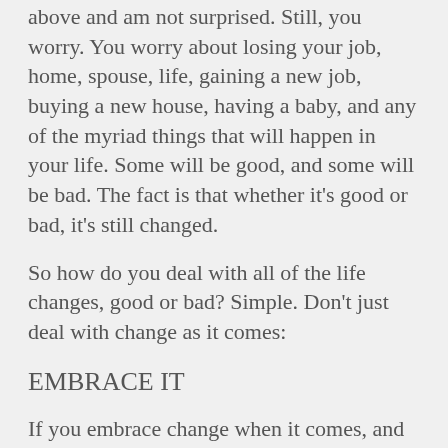above and am not surprised. Still, you worry. You worry about losing your job, home, spouse, life, gaining a new job, buying a new house, having a baby, and any of the myriad things that will happen in your life. Some will be good, and some will be bad. The fact is that whether it's good or bad, it's still changed.
So how do you deal with all of the life changes, good or bad? Simple. Don't just deal with change as it comes:
EMBRACE IT
If you embrace change when it comes, and you know it will, you can indeed have a fulfilling, calm and wonderful life. And how do you embrace change? Also simple:
Do. Fail. Learn. Could you do it again until you succeed?
Pretty simple, huh? I see people make up all these elaborate plans, and then something in life comes along and changes everything, and then the plans...